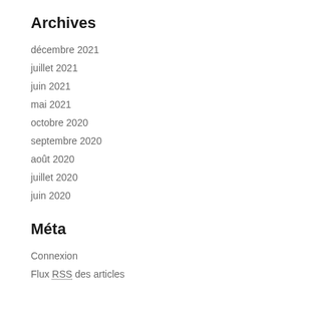Archives
décembre 2021
juillet 2021
juin 2021
mai 2021
octobre 2020
septembre 2020
août 2020
juillet 2020
juin 2020
Méta
Connexion
Flux RSS des articles